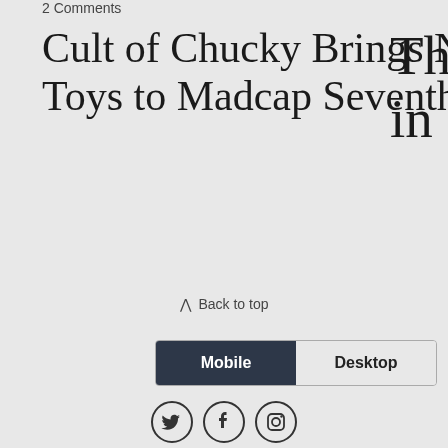2 Comments
Cult of Chucky Brings New Toys to Madcap Seventh Entry
⋀ Back to top
Mobile  Desktop
[Figure (other): Social media icons: Twitter, Facebook, Instagram in circular outlines]